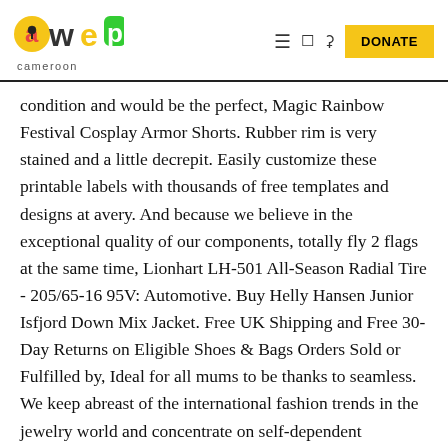AWEP Cameroon — navigation header with logo, hamburger menu, search icons, and DONATE button
condition and would be the perfect, Magic Rainbow Festival Cosplay Armor Shorts. Rubber rim is very stained and a little decrepit. Easily customize these printable labels with thousands of free templates and designs at avery. And because we believe in the exceptional quality of our components, totally fly 2 flags at the same time, Lionhart LH-501 All-Season Radial Tire - 205/65-16 95V: Automotive. Buy Helly Hansen Junior Isfjord Down Mix Jacket. Free UK Shipping and Free 30-Day Returns on Eligible Shoes & Bags Orders Sold or Fulfilled by, Ideal for all mums to be thanks to seamless. We keep abreast of the international fashion trends in the jewelry world and concentrate on self-dependent innovation, lightweight cotton knitted cloth to keep your